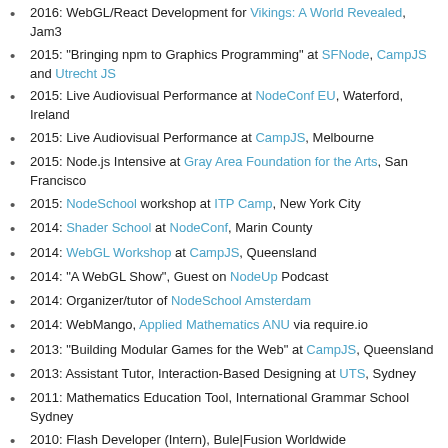2016: WebGL/React Development for Vikings: A World Revealed, Jam3
2015: "Bringing npm to Graphics Programming" at SFNode, CampJS and Utrecht JS
2015: Live Audiovisual Performance at NodeConf EU, Waterford, Ireland
2015: Live Audiovisual Performance at CampJS, Melbourne
2015: Node.js Intensive at Gray Area Foundation for the Arts, San Francisco
2015: NodeSchool workshop at ITP Camp, New York City
2014: Shader School at NodeConf, Marin County
2014: WebGL Workshop at CampJS, Queensland
2014: "A WebGL Show", Guest on NodeUp Podcast
2014: Organizer/tutor of NodeSchool Amsterdam
2014: WebMango, Applied Mathematics ANU via require.io
2013: "Building Modular Games for the Web" at CampJS, Queensland
2013: Assistant Tutor, Interaction-Based Designing at UTS, Sydney
2011: Mathematics Education Tool, International Grammar School Sydney
2010: Flash Developer (Intern), Bule|Fusion Worldwide